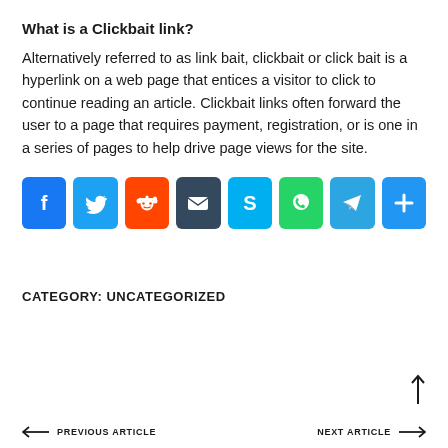What is a Clickbait link?
Alternatively referred to as link bait, clickbait or click bait is a hyperlink on a web page that entices a visitor to click to continue reading an article. Clickbait links often forward the user to a page that requires payment, registration, or is one in a series of pages to help drive page views for the site.
[Figure (infographic): A row of social sharing icon buttons: Facebook (blue), Twitter (blue), Reddit (orange-red), Email (dark blue), Skype (light blue), WhatsApp (green), Telegram (light blue), More/Share (blue with plus sign)]
CATEGORY: UNCATEGORIZED
← PREVIOUS ARTICLE    NEXT ARTICLE →